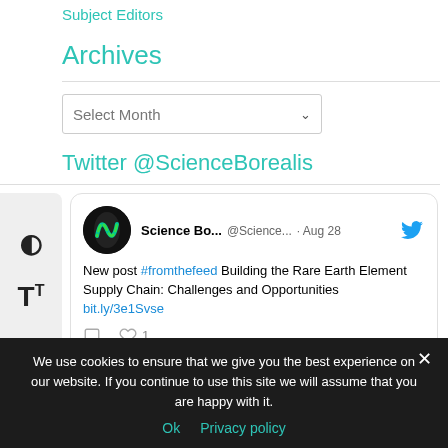Subject Editors
Archives
Select Month
Twitter @ScienceBorealis
[Figure (screenshot): Tweet from Science Bo... @Science... · Aug 28 with Twitter bird icon. Tweet text: New post #fromthefeed Building the Rare Earth Element Supply Chain: Challenges and Opportunities bit.ly/3e1Svse. Shows comment and heart icons with 1 like.]
We use cookies to ensure that we give you the best experience on our website. If you continue to use this site we will assume that you are happy with it.
Ok   Privacy policy